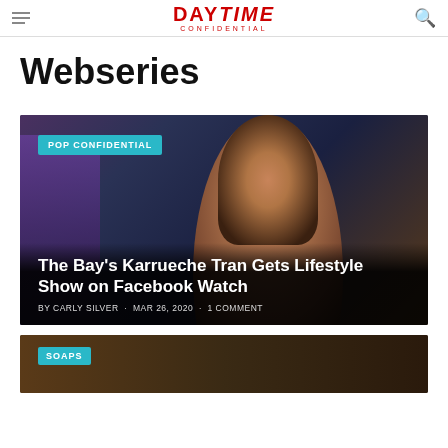DAYTIME CONFIDENTIAL
Webseries
[Figure (photo): Featured article card with photo of Karrueche Tran, POP CONFIDENTIAL badge overlay, headline and byline over dark background]
The Bay's Karrueche Tran Gets Lifestyle Show on Facebook Watch
BY CARLY SILVER · MAR 26, 2020 · 1 COMMENT
[Figure (photo): Partial card with SOAPS badge, dark warm-toned background photo]